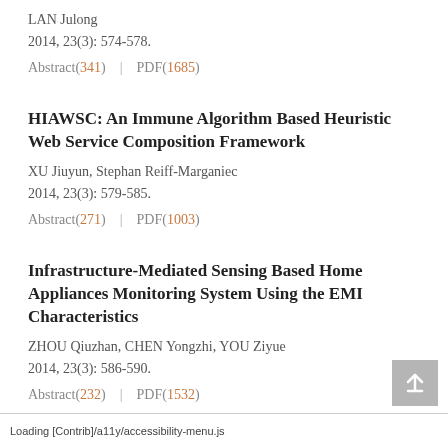LAN Julong
2014, 23(3): 574-578.
Abstract(341)   |   PDF(1685)
HIAWSC: An Immune Algorithm Based Heuristic Web Service Composition Framework
XU Jiuyun, Stephan Reiff-Marganiec
2014, 23(3): 579-585.
Abstract(271)   |   PDF(1003)
Infrastructure-Mediated Sensing Based Home Appliances Monitoring System Using the EMI Characteristics
ZHOU Qiuzhan, CHEN Yongzhi, YOU Ziyue
2014, 23(3): 586-590.
Abstract(232)   |   PDF(1532)
Loading [Contrib]/a11y/accessibility-menu.js